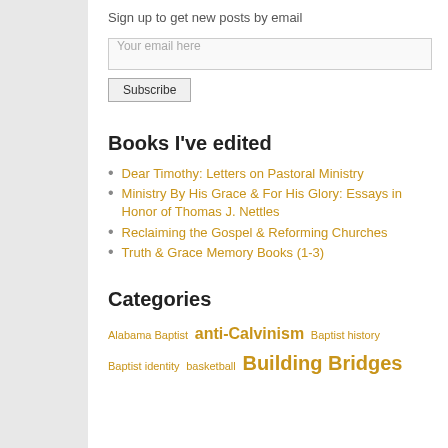Sign up to get new posts by email
Your email here
Subscribe
Books I've edited
Dear Timothy: Letters on Pastoral Ministry
Ministry By His Grace & For His Glory: Essays in Honor of Thomas J. Nettles
Reclaiming the Gospel & Reforming Churches
Truth & Grace Memory Books (1-3)
Categories
Alabama Baptist  anti-Calvinism  Baptist history  Baptist identity  basketball  Building Bridges